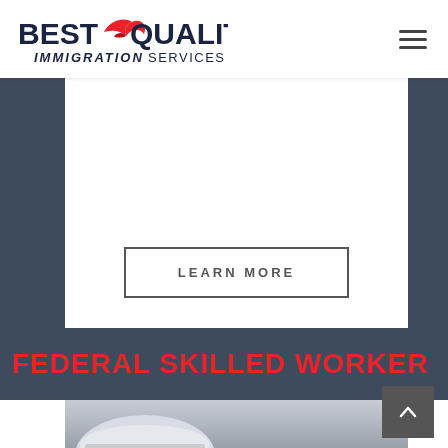Best Quality Immigration Services
[Figure (logo): Best Quality Immigration Services logo with red bird/arrow graphic, bold dark text 'BEST QUALITY' and italic 'IMMIGRATION SERVICES' below]
LEARN MORE
FEDERAL SKILLED WORKER
[Figure (photo): Partial photo of a person wearing a hard hat, bottom section of page]